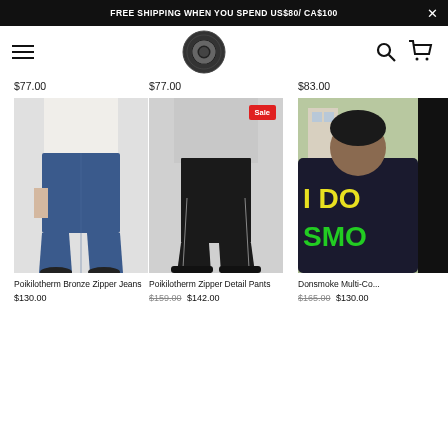FREE SHIPPING WHEN YOU SPEND US$80/ CA$100
[Figure (screenshot): Navigation bar with hamburger menu, circular logo, search icon, and cart icon]
$77.00   $77.00   $83.00
[Figure (photo): Poikilotherm Bronze Zipper Jeans - person wearing blue flared jeans with zipper details]
Poikilotherm Bronze Zipper Jeans
$130.00
[Figure (photo): Poikilotherm Zipper Detail Pants - person wearing black zipper detail pants with Sale badge]
Poikilotherm Zipper Detail Pants
$159.00  $142.00
[Figure (photo): Donsmoke Multi-Co... - person wearing colorful hoodie outdoors]
Donsmoke Multi-Co...
$165.00  $130.00